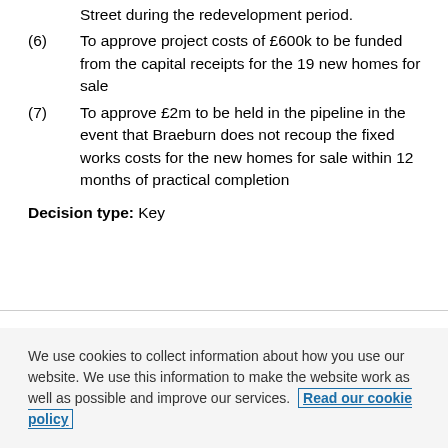Street during the redevelopment period.
(6) To approve project costs of £600k to be funded from the capital receipts for the 19 new homes for sale
(7) To approve £2m to be held in the pipeline in the event that Braeburn does not recoup the fixed works costs for the new homes for sale within 12 months of practical completion
Decision type: Key
We use cookies to collect information about how you use our website. We use this information to make the website work as well as possible and improve our services. Read our cookie policy